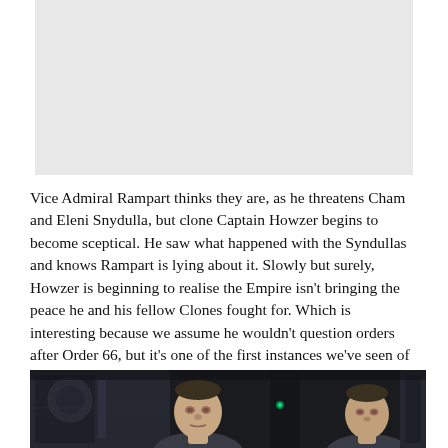[Figure (photo): Screenshot from an animated show, partially visible at top of page — faded/light gray background panel]
Vice Admiral Rampart thinks they are, as he threatens Cham and Eleni Snydulla, but clone Captain Howzer begins to become sceptical. He saw what happened with the Syndullas and knows Rampart is lying about it. Slowly but surely, Howzer is beginning to realise the Empire isn't bringing the peace he and his fellow Clones fought for. Which is interesting because we assume he wouldn't question orders after Order 66, but it's one of the first instances we've seen of that programming beginning to lose hold.
[Figure (screenshot): Dark sci-fi scene showing two clone troopers (without helmets) facing forward against a dark background with industrial/spacecraft interior elements]